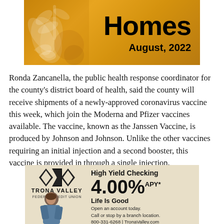[Figure (illustration): Header banner with orange/gold floral decorative background, large bold title 'Homes' and date 'August, 2022']
Ronda Zancanella, the public health response coordinator for the county's district board of health, said the county will receive shipments of a newly-approved coronavirus vaccine this week, which join the Moderna and Pfizer vaccines available. The vaccine, known as the Janssen Vaccine, is produced by Johnson and Johnson. Unlike the other vaccines requiring an initial injection and a second booster, this vaccine is provided in through a single injection.
[Figure (illustration): Trona Valley Federal Credit Union advertisement. High Yield Checking 4.00% APY*. Life Is Good. Open an account today. Call or stop by a branch location. 800-331-6268 | TronaValley.com. Shows logo with diamond shapes and a person in foreground.]